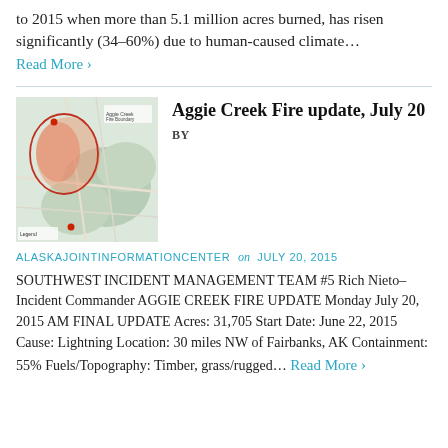to 2015 when more than 5.1 million acres burned, has risen significantly (34–60%) due to human-caused climate… Read More ›
[Figure (map): Topographic map showing the Aggie Creek Fire boundary outlined in red, with a pink/orange shaded fire area and two red dot markers. Green terrain background with road lines visible.]
Aggie Creek Fire update, July 20
BY
ALASKAJOINTINFORMATIONCENTER on JULY 20, 2015
SOUTHWEST INCIDENT MANAGEMENT TEAM #5 Rich Nieto–Incident Commander AGGIE CREEK FIRE UPDATE Monday July 20, 2015 AM FINAL UPDATE Acres: 31,705 Start Date: June 22, 2015 Cause: Lightning Location: 30 miles NW of Fairbanks, AK Containment: 55% Fuels/Topography: Timber, grass/rugged… Read More ›